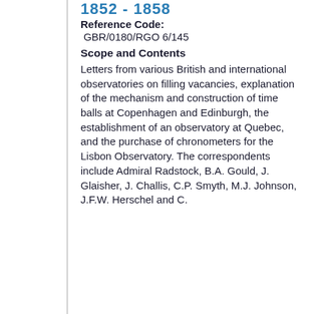1852 - 1858
Reference Code: GBR/0180/RGO 6/145
Scope and Contents
Letters from various British and international observatories on filling vacancies, explanation of the mechanism and construction of time balls at Copenhagen and Edinburgh, the establishment of an observatory at Quebec, and the purchase of chronometers for the Lisbon Observatory. The correspondents include Admiral Radstock, B.A. Gould, J. Glaisher, J. Challis, C.P. Smyth, M.J. Johnson, J.F.W. Herschel and C.